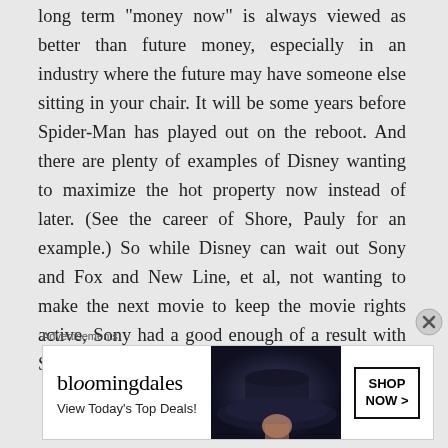long term 'money now' is always viewed as better than future money, especially in an industry where the future may have someone else sitting in your chair. It will be some years before Spider-Man has played out on the reboot. And there are plenty of examples of Disney wanting to maximize the hot property now instead of later. (See the career of Shore, Pauly for an example.) So while Disney can wait out Sony and Fox and New Line, et al, not wanting to make the next movie to keep the movie rights active, Sony had a good enough of a result with Spider-Man to be willing to at least
Advertisements
[Figure (other): Bloomingdale's advertisement banner with logo, 'View Today's Top Deals!' text, a woman wearing a large dark hat, and a 'SHOP NOW >' button]